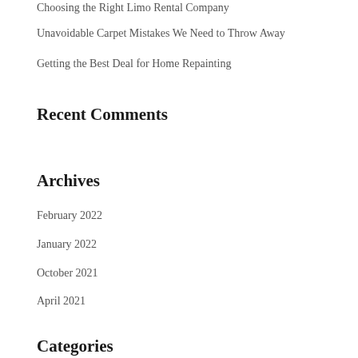Choosing the Right Limo Rental Company
Unavoidable Carpet Mistakes We Need to Throw Away
Getting the Best Deal for Home Repainting
Recent Comments
Archives
February 2022
January 2022
October 2021
April 2021
Categories